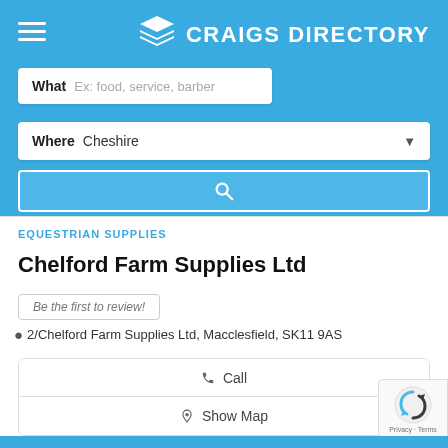[Figure (logo): Craigs Directory logo with layered diamond icon and white text on blue background]
What  Ex: food, service, barber
Where  Cheshire
[Figure (infographic): Search button with magnifying glass icon on blue background]
EQUESTRIAN SUPPLIES
Chelford Farm Supplies Ltd
Be the first to review!
2/Chelford Farm Supplies Ltd, Macclesfield, SK11 9AS
Call
Show Map